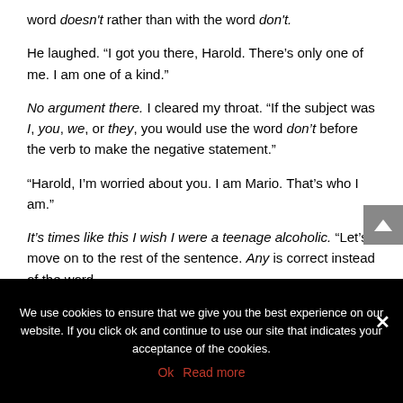word doesn't rather than with the word don't.
He laughed. “I got you there, Harold. There’s only one of me. I am one of a kind.”
No argument there. I cleared my throat. “If the subject was I, you, we, or they, you would use the word don’t before the verb to make the negative statement.”
“Harold, I’m worried about you. I am Mario. That’s who I am.”
It’s times like this I wish I were a teenage alcoholic. “Let’s move on to the rest of the sentence. Any is correct instead of the word
We use cookies to ensure that we give you the best experience on our website. If you click ok and continue to use our site that indicates your acceptance of the cookies.